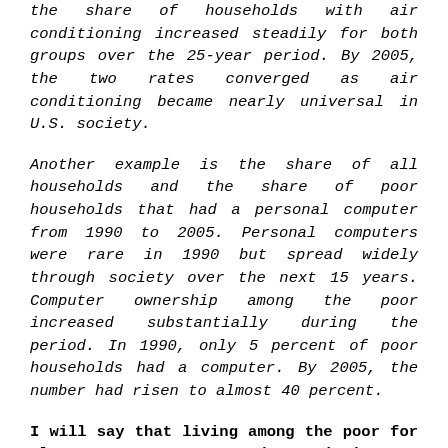the share of households with air conditioning increased steadily for both groups over the 25-year period. By 2005, the two rates converged as air conditioning became nearly universal in U.S. society.
Another example is the share of all households and the share of poor households that had a personal computer from 1990 to 2005. Personal computers were rare in 1990 but spread widely through society over the next 15 years. Computer ownership among the poor increased substantially during the period. In 1990, only 5 percent of poor households had a computer. By 2005, the number had risen to almost 40 percent.
I will say that living among the poor for almost seven years and continuing to advocate for them